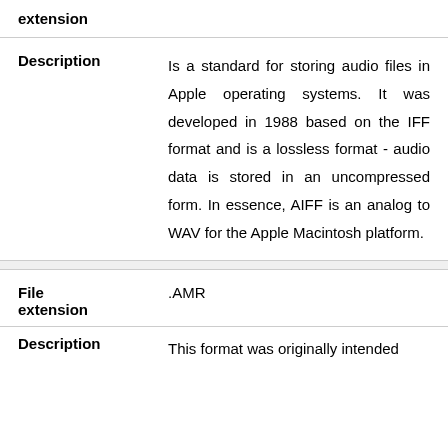| Field | Value |
| --- | --- |
| extension |  |
| Description | Is a standard for storing audio files in Apple operating systems. It was developed in 1988 based on the IFF format and is a lossless format - audio data is stored in an uncompressed form. In essence, AIFF is an analog to WAV for the Apple Macintosh platform. |
| File extension | .AMR |
| Description | This format was originally intended |